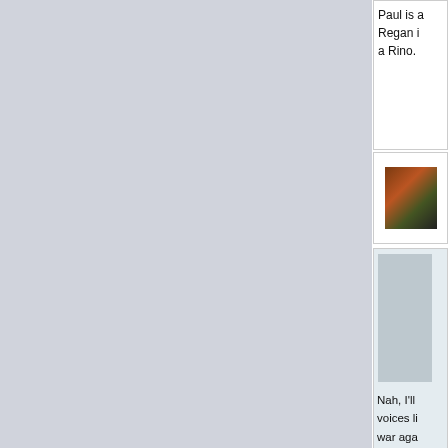Paul is a Regan i a Rino.
[Figure (photo): Small thumbnail image, partially visible]
[Figure (photo): Small rectangular image box, partially visible]
Nah, I'll voices li war aga let go m oversigh used to Wester And ya hoping t Putin's a illegal w